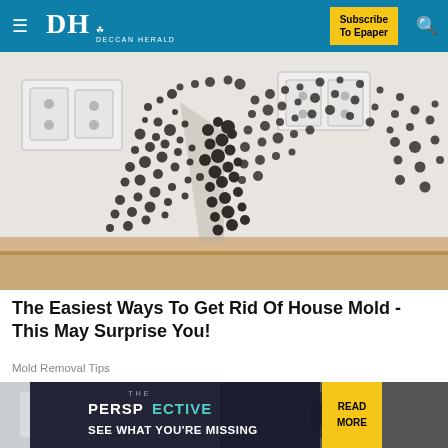Deccan Herald — Subscribe To Epaper
[Figure (photo): Wall corner covered with extensive black mold growth, with two white electrical outlet panels visible on the upper portion of the wall, and a wooden baseboard at the bottom.]
The Easiest Ways To Get Rid Of House Mold - This May Surprise You!
Mold Removal Tips
[Figure (photo): Partial second article image strip showing what appears to be a bathroom or interior scene, with an advertisement banner overlay reading THE PERSPECTIVE - SEE WHAT YOU'RE MISSING with a READ MORE button.]